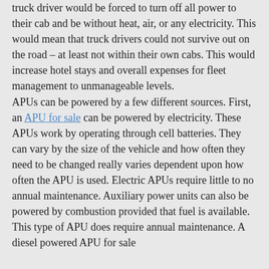truck driver would be forced to turn off all power to their cab and be without heat, air, or any electricity. This would mean that truck drivers could not survive out on the road – at least not within their own cabs. This would increase hotel stays and overall expenses for fleet management to unmanageable levels. APUs can be powered by a few different sources. First, an APU for sale can be powered by electricity. These APUs work by operating through cell batteries. They can vary by the size of the vehicle and how often they need to be changed really varies dependent upon how often the APU is used. Electric APUs require little to no annual maintenance. Auxiliary power units can also be powered by combustion provided that fuel is available. This type of APU does require annual maintenance. A diesel powered APU for sale